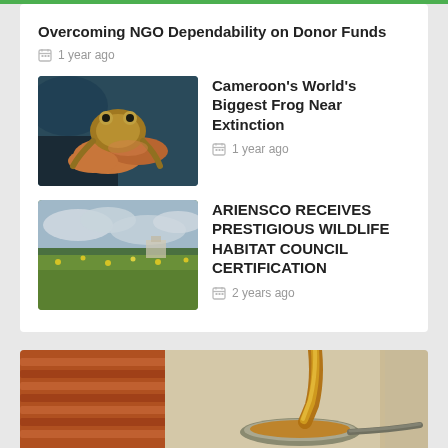Overcoming NGO Dependability on Donor Funds
1 year ago
[Figure (photo): Hands holding a large frog]
Cameroon's World's Biggest Frog Near Extinction
1 year ago
[Figure (photo): Green field with wildflowers under cloudy sky]
ARIENSCO RECEIVES PRESTIGIOUS WILDLIFE HABITAT COUNCIL CERTIFICATION
2 years ago
[Figure (photo): Honey being poured onto a spoon with stacked terracotta pots in background]